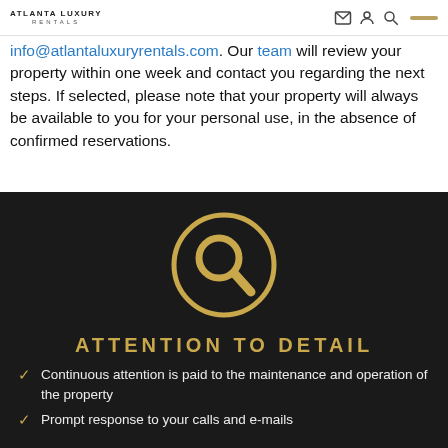ATLANTA LUXURY RENTALS
info@atlantaluxuryrentals.com. Our team will review your property within one week and contact you regarding the next steps. If selected, please note that your property will always be available to you for your personal use, in the absence of confirmed reservations.
[Figure (illustration): Gold search/magnifying glass icon inside a gold circle outline on a dark background]
ATTENTION TO DETAIL
Continuous attention is paid to the maintenance and operation of the property
Prompt response to your calls and e-mails